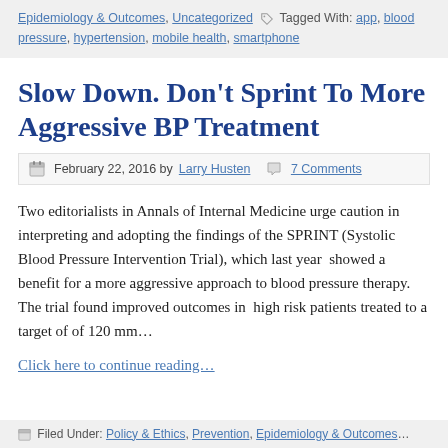Epidemiology & Outcomes, Uncategorized  Tagged With: app, blood pressure, hypertension, mobile health, smartphone
Slow Down. Don't Sprint To More Aggressive BP Treatment
February 22, 2016 by Larry Husten  7 Comments
Two editorialists in Annals of Internal Medicine urge caution in interpreting and adopting the findings of the SPRINT (Systolic Blood Pressure Intervention Trial), which last year  showed a benefit for a more aggressive approach to blood pressure therapy. The trial found improved outcomes in  high risk patients treated to a target of of 120 mm…
Click here to continue reading…
Filed Under: Policy & Ethics, Prevention, Epidemiology & Outcomes…